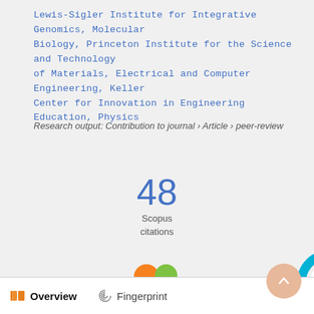Lewis-Sigler Institute for Integrative Genomics, Molecular Biology, Princeton Institute for the Science and Technology of Materials, Electrical and Computer Engineering, Keller Center for Innovation in Engineering Education, Physics
Research output: Contribution to journal › Article › peer-review
48
Scopus
citations
[Figure (logo): Altmetric donut badge logo with colorful circles]
[Figure (donut-chart): Dimensions badge showing number 5 in a blue/purple donut ring]
Overview   Fingerprint